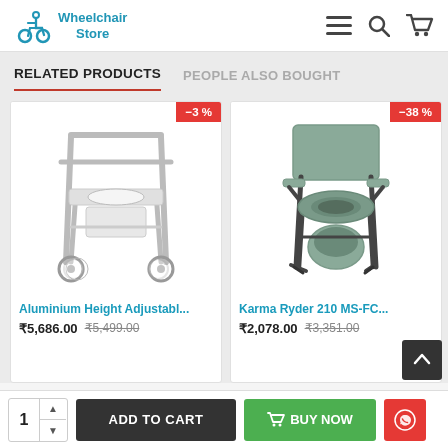Wheelchair Store
RELATED PRODUCTS | PEOPLE ALSO BOUGHT
[Figure (photo): Aluminium height adjustable commode chair with wheels, -3% discount badge]
Aluminium Height Adjustabl...
₹5,686.00  ₹5,499.00
[Figure (photo): Karma Ryder 210 MS-FC commode chair, -38% discount badge]
Karma Ryder 210 MS-FC...
₹2,078.00  ₹3,351.00
1  ADD TO CART  BUY NOW  [WhatsApp]